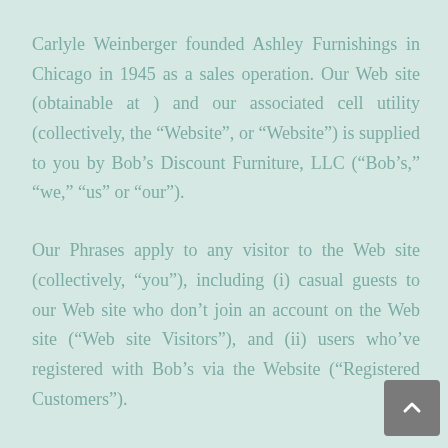Carlyle Weinberger founded Ashley Furnishings in Chicago in 1945 as a sales operation. Our Web site (obtainable at ) and our associated cell utility (collectively, the “Website”, or “Website”) is supplied to you by Bob’s Discount Furniture, LLC (“Bob’s,” “we,” “us” or “our”).
Our Phrases apply to any visitor to the Web site (collectively, “you”), including (i) casual guests to our Web site who don’t join an account on the Web site (“Web site Visitors”), and (ii) users who’ve registered with Bob’s via the Website (“Registered Customers”).